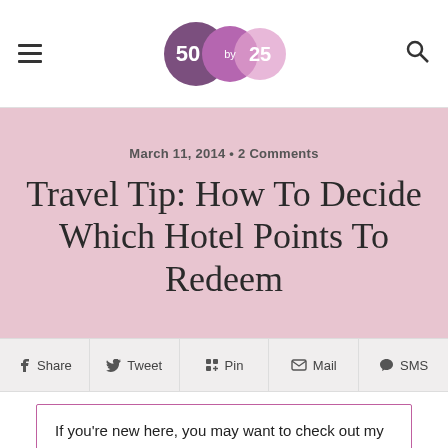50 by 25 — navigation header with hamburger menu, logo, and search icon
March 11, 2014 • 2 Comments
Travel Tip: How To Decide Which Hotel Points To Redeem
Share  Tweet  Pin  Mail  SMS
If you're new here, you may want to check out my welcome page. Thanks for visiting!
When I posted recently about my new partnership with Marriott Rewards, I mentioned that I have been